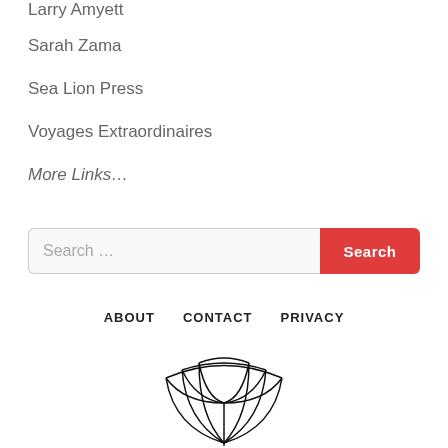Larry Amyett
Sarah Zama
Sea Lion Press
Voyages Extraordinaires
More Links…
Search …
Search
ABOUT   CONTACT   PRIVACY
[Figure (logo): Stylized art deco fan/feather logo with curved lines radiating upward from a center point]